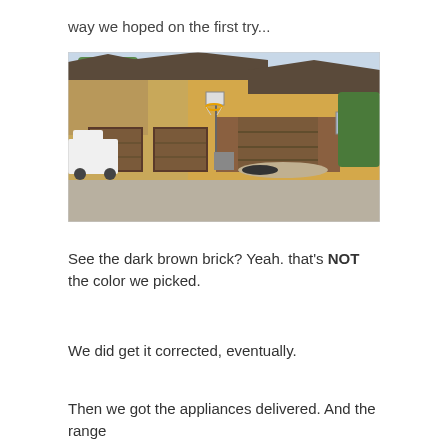way we hoped on the first try...
[Figure (photo): Exterior photo of a house under construction with yellow/tan siding and dark brown brick accents on the garage area. A basketball hoop is visible in the driveway. A white pickup truck is parked to the left. Piles of dirt/gravel are visible near the foundation.]
See the dark brown brick? Yeah. that's NOT the color we picked.
We did get it corrected, eventually.
Then we got the appliances delivered. And the range